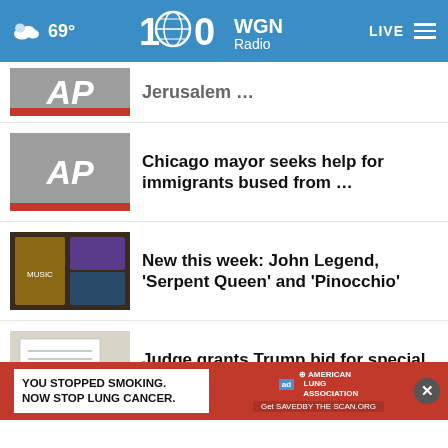69° WGN Radio LIVE
Jerusalem …
Chicago mayor seeks help for immigrants bused from …
New this week: John Legend, 'Serpent Queen' and 'Pinocchio'
Judge grants Trump bid for special master in document …
As Africa's climate warms, rich countries pledge …
Irish watchdog fines Instagram €405M euros in teen …
YOU STOPPED SMOKING. NOW STOP LUNG CANCER.